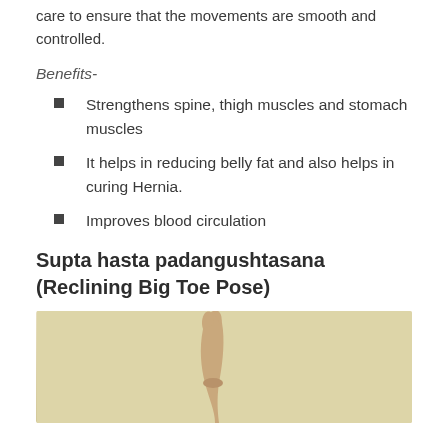care to ensure that the movements are smooth and controlled.
Benefits-
Strengthens spine, thigh muscles and stomach muscles
It helps in reducing belly fat and also helps in curing Hernia.
Improves blood circulation
Supta hasta padangushtasana (Reclining Big Toe Pose)
[Figure (photo): Photo of a person's arm raised upward against a beige/cream background, demonstrating a yoga pose.]